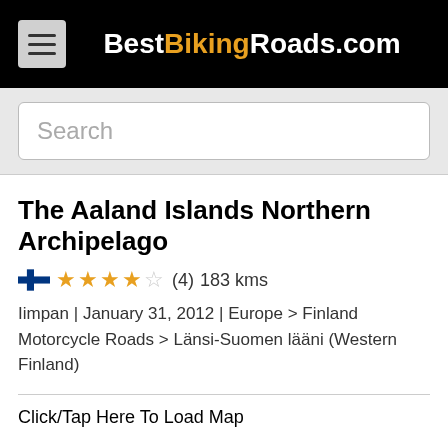BestBikingRoads.com
Search
The Aaland Islands Northern Archipelago
★★★★☆ (4) 183 kms
Iimpan | January 31, 2012 | Europe > Finland Motorcycle Roads > Länsi-Suomen lääni (Western Finland)
Click/Tap Here To Load Map